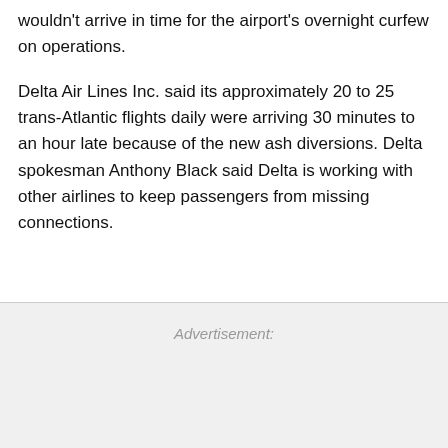wouldn't arrive in time for the airport's overnight curfew on operations.
Delta Air Lines Inc. said its approximately 20 to 25 trans-Atlantic flights daily were arriving 30 minutes to an hour late because of the new ash diversions. Delta spokesman Anthony Black said Delta is working with other airlines to keep passengers from missing connections.
Advertisement: